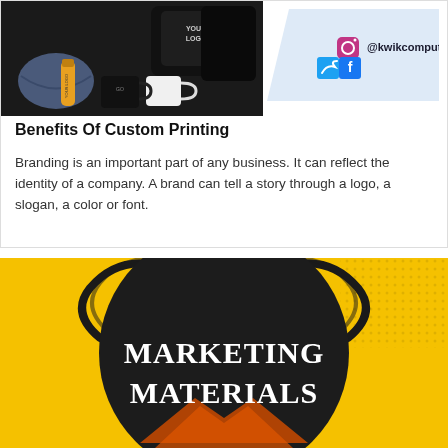[Figure (photo): Custom branded merchandise including face masks, bags, mugs, and water bottles with 'YOUR LOGO' printed on them]
[Figure (infographic): Social media badge with Instagram, Twitter, and Facebook icons showing handle @kwikcomputing on a light blue angled background]
Benefits Of Custom Printing
Branding is an important part of any business. It can reflect the identity of a company. A brand can tell a story through a logo, a slogan, a color or font.
[Figure (infographic): Marketing Materials promotional image with dark circle on yellow background containing white text 'MARKETING MATERIALS' with orange ribbon accent and dot pattern decoration]